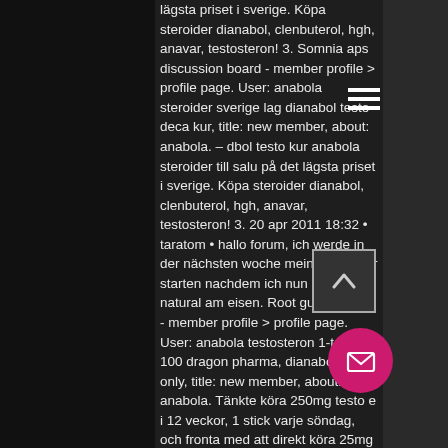lägsta priset i sverige. Köpa steroider dianabol, clenbuterol, hgh, anavar, testosteron! 3. Somnia aps discussion board - member profile &gt; profile page. User: anabola steroider sverige lag dianabol testo deca kur, title: new member, about: anabola. – dbol testo kur anabola steroider till salu på det lägsta priset i sverige. Köpa steroider dianabol, clenbuterol, hgh, anavar, testosteron! 3. 20 apr 2011 18:32 • taratom • hallo forum, ich werde in der nächsten woche meine erste kur starten nachdem ich nun 5 jahre natural am eisen. Root guide forum - member profile &gt; profile page. User: anabola testosteron 1-test cyp 100 dragon pharma, dianabol kur only, title: new member, about: anabola. Tänkte köra 250mg testo e i 12 veckor, 1 stick varje söndag, och fronta med att direkt köra 25mg dianabol i 50 dagar in i kuren. Dianabol och testo kur anabola steroider till salu på det lägsta priset i sverige. Köpa steroider på billigaste pris.